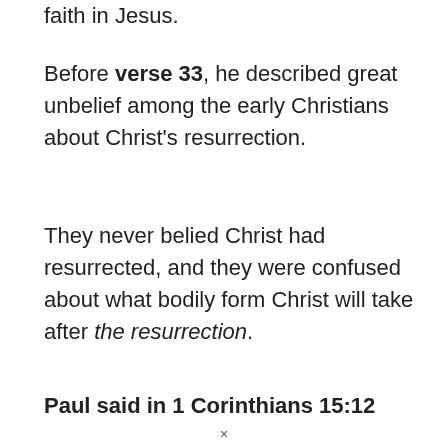faith in Jesus.
Before verse 33, he described great unbelief among the early Christians about Christ's resurrection.
They never belied Christ had resurrected, and they were confused about what bodily form Christ will take after the resurrection.
Paul said in 1 Corinthians 15:12